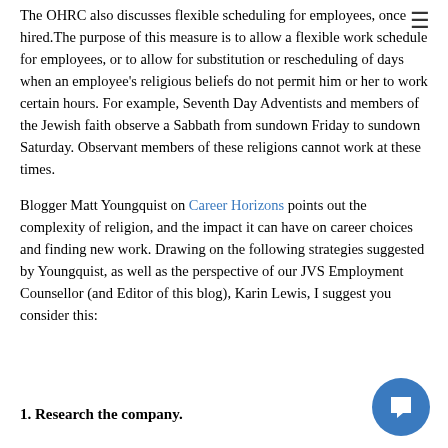The OHRC also discusses flexible scheduling for employees, once hired. The purpose of this measure is to allow a flexible work schedule for employees, or to allow for substitution or rescheduling of days when an employee's religious beliefs do not permit him or her to work certain hours. For example, Seventh Day Adventists and members of the Jewish faith observe a Sabbath from sundown Friday to sundown Saturday. Observant members of these religions cannot work at these times.
Blogger Matt Youngquist on Career Horizons points out the complexity of religion, and the impact it can have on career choices and finding new work. Drawing on the following strategies suggested by Youngquist, as well as the perspective of our JVS Employment Counsellor (and Editor of this blog), Karin Lewis, I suggest you consider this:
1. Research the company.